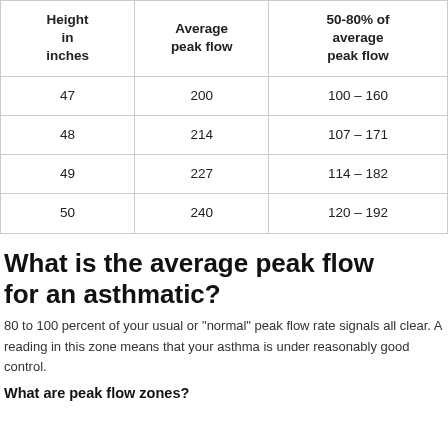| Height in inches | Average peak flow | 50-80% of average peak flow |
| --- | --- | --- |
| 47 | 200 | 100 – 160 |
| 48 | 214 | 107 – 171 |
| 49 | 227 | 114 – 182 |
| 50 | 240 | 120 – 192 |
What is the average peak flow for an asthmatic?
80 to 100 percent of your usual or "normal" peak flow rate signals all clear. A reading in this zone means that your asthma is under reasonably good control.
What are peak flow zones?